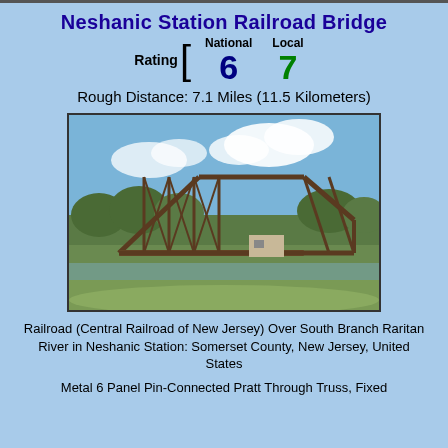Neshanic Station Railroad Bridge
Rating [ National 6  Local 7
Rough Distance: 7.1 Miles (11.5 Kilometers)
[Figure (photo): Photograph of the Neshanic Station Railroad Bridge, a metal truss railroad bridge over the South Branch Raritan River, surrounded by trees and vegetation, with a blue sky and clouds in the background.]
Railroad (Central Railroad of New Jersey) Over South Branch Raritan River in Neshanic Station: Somerset County, New Jersey, United States
Metal 6 Panel Pin-Connected Pratt Through Truss, Fixed